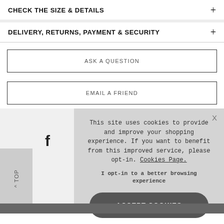CHECK THE SIZE & DETAILS +
DELIVERY, RETURNS, PAYMENT & SECURITY +
ASK A QUESTION
EMAIL A FRIEND
This site uses cookies to provide and improve your shopping experience. If you want to benefit from this improved service, please opt-in. Cookies Page.
I opt-in to a better browsing experience
ACCEPT COOKIES